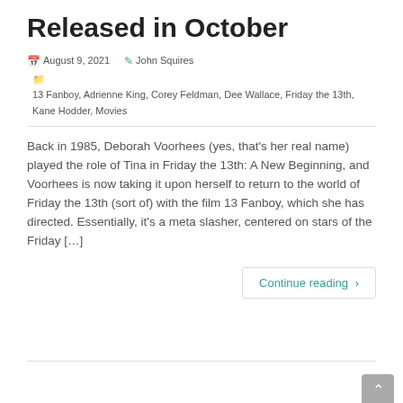Released in October
August 9, 2021   John Squires   13 Fanboy, Adrienne King, Corey Feldman, Dee Wallace, Friday the 13th, Kane Hodder, Movies
Back in 1985, Deborah Voorhees (yes, that's her real name) played the role of Tina in Friday the 13th: A New Beginning, and Voorhees is now taking it upon herself to return to the world of Friday the 13th (sort of) with the film 13 Fanboy, which she has directed. Essentially, it's a meta slasher, centered on stars of the Friday [...]
Continue reading